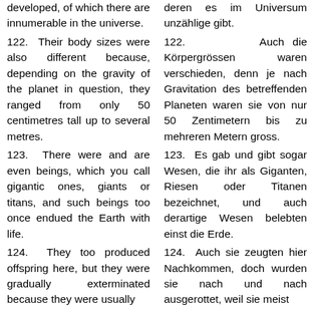developed, of which there are innumerable in the universe.
deren es im Universum unzählige gibt.
122. Their body sizes were also different because, depending on the gravity of the planet in question, they ranged from only 50 centimetres tall up to several metres.
122. Auch die Körpergrössen waren verschieden, denn je nach Gravitation des betreffenden Planeten waren sie von nur 50 Zentimetern bis zu mehreren Metern gross.
123. There were and are even beings, which you call gigantic ones, giants or titans, and such beings too once endued the Earth with life.
123. Es gab und gibt sogar Wesen, die ihr als Giganten, Riesen oder Titanen bezeichnet, und auch derartige Wesen belebten einst die Erde.
124. They too produced offspring here, but they were gradually exterminated because they were usually
124. Auch sie zeugten hier Nachkommen, doch wurden sie nach und nach ausgerottet, weil sie meist